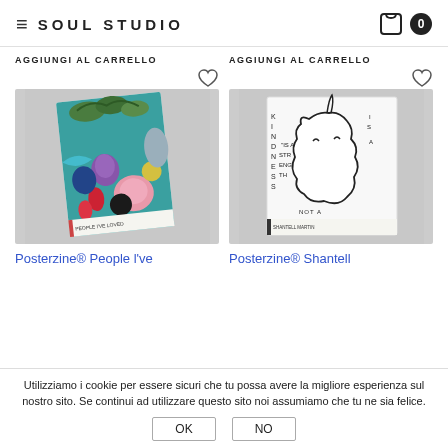SOUL STUDIO
AGGIUNGI AL CARRELLO
AGGIUNGI AL CARRELLO
[Figure (photo): Colorful floral illustrated book cover - Posterzine People l've]
[Figure (photo): Black and white illustrated book cover - Posterzine Shantell with unicorn/creature drawing and text KINDNESS IS A STRENGTH NOT A WEAKNESS]
Posterzine® People l've
Posterzine® Shantell
Utilizziamo i cookie per essere sicuri che tu possa avere la migliore esperienza sul nostro sito. Se continui ad utilizzare questo sito noi assumiamo che tu ne sia felice.
OK
NO